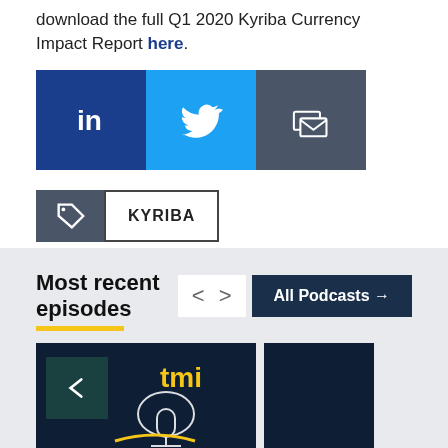download the full Q1 2020 Kyriba Currency Impact Report here.
[Figure (infographic): Social sharing buttons: LinkedIn (dark blue), Twitter (light blue), Email (dark gray)]
[Figure (infographic): Tag icon with KYRIBA label button]
Most recent episodes
[Figure (infographic): Podcast thumbnail cards in dark navy with TMI logo and headphone illustration]